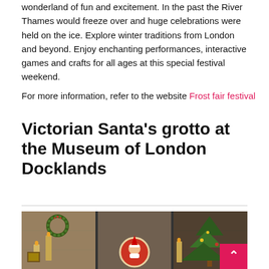wonderland of fun and excitement. In the past the River Thames would freeze over and huge celebrations were held on the ice. Explore winter traditions from London and beyond. Enjoy enchanting performances, interactive games and crafts for all ages at this special festival weekend.
For more information, refer to the website Frost fair festival
Victorian Santa's grotto at the Museum of London Docklands
[Figure (photo): Photo of a Victorian Christmas scene with a wreath, candles, Santa decoration, and a Christmas tree, displayed in a museum setting.]